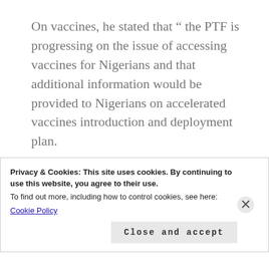On vaccines, he stated that “ the PTF is progressing on the issue of accessing vaccines for Nigerians and that additional information would be provided to Nigerians on accelerated vaccines introduction and deployment plan.
“What is currently confronting us is a critical phase of infections globally. We are
Privacy & Cookies: This site uses cookies. By continuing to use this website, you agree to their use.
To find out more, including how to control cookies, see here:
Cookie Policy
Close and accept